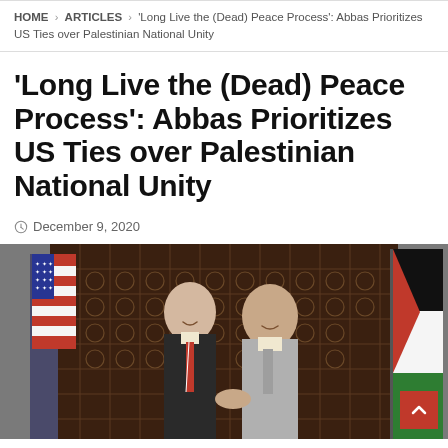HOME > ARTICLES > 'Long Live the (Dead) Peace Process': Abbas Prioritizes US Ties over Palestinian National Unity
'Long Live the (Dead) Peace Process': Abbas Prioritizes US Ties over Palestinian National Unity
December 9, 2020
[Figure (photo): Two men in suits shaking hands and smiling, an American flag on the left and a Palestinian flag on the right, in front of an ornate dark wooden lattice screen background.]